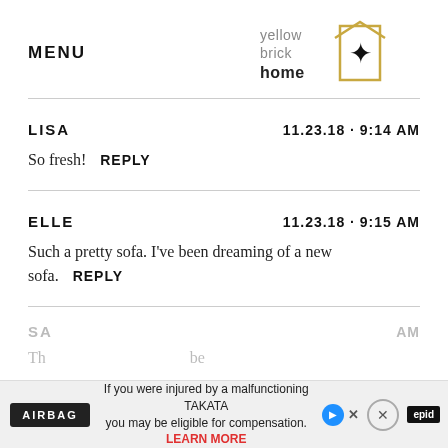MENU | yellow brick home logo
LISA   11.23.18 · 9:14 AM
So fresh!  REPLY
ELLE   11.23.18 · 9:15 AM
Such a pretty sofa. I've been dreaming of a new sofa.  REPLY
SA...  AM
Th... be
[Figure (screenshot): Advertisement banner: Airbag logo, text 'If you were injured by a malfunctioning TAKATA you may be eligible for compensation. LEARN MORE', with play/close buttons and Epic badge]